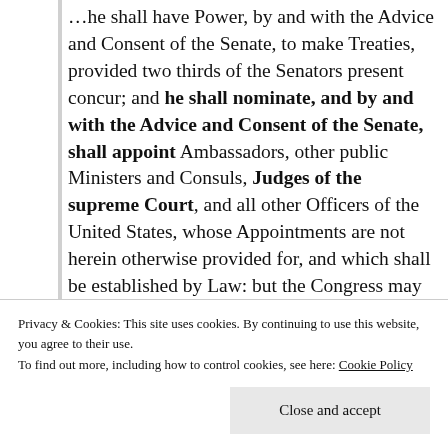…he shall have Power, by and with the Advice and Consent of the Senate, to make Treaties, provided two thirds of the Senators present concur; and he shall nominate, and by and with the Advice and Consent of the Senate, shall appoint Ambassadors, other public Ministers and Consuls, Judges of the supreme Court, and all other Officers of the United States, whose Appointments are not herein otherwise provided for, and which shall be established by Law: but the Congress may by Law vest the Appointment of such inferior Officers, as they think proper, in the President alone, in the…
Privacy & Cookies: This site uses cookies. By continuing to use this website, you agree to their use.
To find out more, including how to control cookies, see here: Cookie Policy